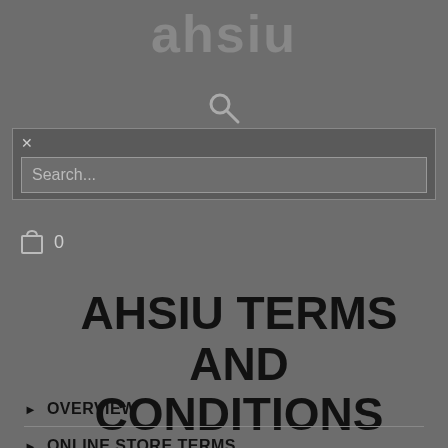ahsiu
[Figure (screenshot): Search icon (magnifying glass)]
[Figure (screenshot): Search overlay with close button (x) and search input field placeholder 'Search...']
[Figure (screenshot): Shopping bag icon with cart count 0]
AHSIU TERMS AND CONDITIONS
OVERVIEW
ONLINE STORE TERMS